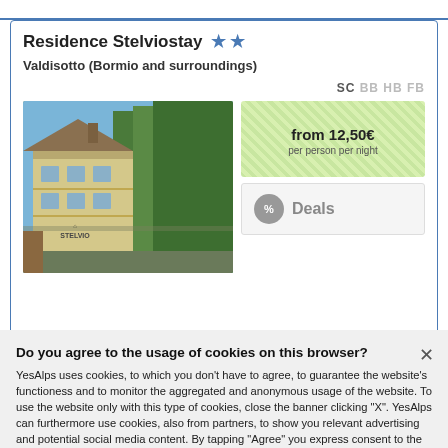Residence Stelviostay ★★
Valdisotto (Bormio and surroundings)
SC BB HB FB
[Figure (photo): Photo of Residence Stelviostay hotel building with alpine trees in background]
from 12,50€ per person per night
% Deals
Do you agree to the usage of cookies on this browser?
YesAlps uses cookies, to which you don't have to agree, to guarantee the website's functioness and to monitor the aggregated and anonymous usage of the website. To use the website only with this type of cookies, close the banner clicking "X". YesAlps can furthermore use cookies, also from partners, to show you relevant advertising and potential social media content. By tapping "Agree" you express consent to the usage of all of these cookies and can adjust it by going to "Preferences". For more information, please read the Privacy Policy.
Preferences
Agree